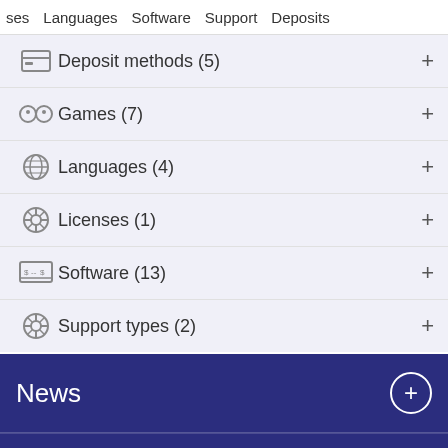ses   Languages   Software   Support   Deposits
Deposit methods (5)
Games (7)
Languages (4)
Licenses (1)
Software (13)
Support types (2)
News
Deposit Casinos
CasinoEmpire is not available in your country. Please try: